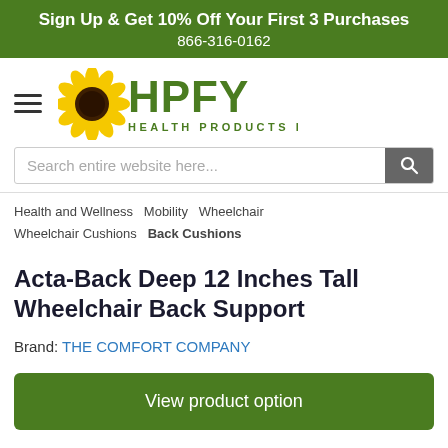Sign Up & Get 10% Off Your First 3 Purchases
866-316-0162
[Figure (logo): HPFY Health Products For You logo with sunflower icon and hamburger menu icon]
Search entire website here...
Health and Wellness  Mobility  Wheelchair  Wheelchair Cushions  Back Cushions
Acta-Back Deep 12 Inches Tall Wheelchair Back Support
Brand: THE COMFORT COMPANY
View product option